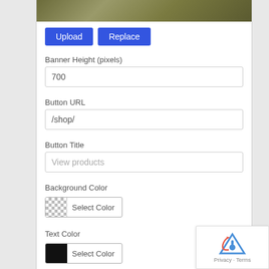[Figure (photo): Partial image strip showing abstract diagonal lines in olive/gold tones]
Upload | Replace
Banner Height (pixels)
700
Button URL
/shop/
Button Title
View products
Background Color
Select Color
Text Color
Select Color
Delete | Done
Saved